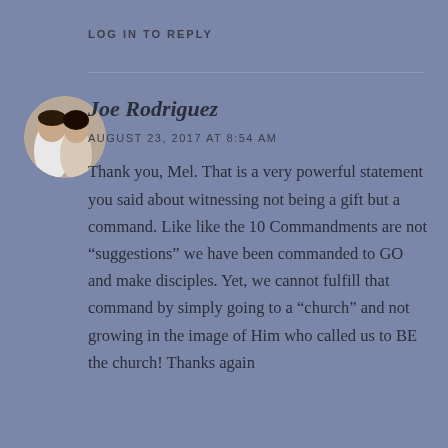LOG IN TO REPLY
Joe Rodriguez
AUGUST 23, 2017 AT 8:54 AM
[Figure (photo): Circular avatar photo of a man and woman, couple, man in white shirt on the left, woman on the right]
Thank you, Mel. That is a very powerful statement you said about witnessing not being a gift but a command. Like like the 10 Commandments are not “suggestions” we have been commanded to GO and make disciples. Yet, we cannot fulfill that command by simply going to a “church” and not growing in the image of Him who called us to BE the church! Thanks again